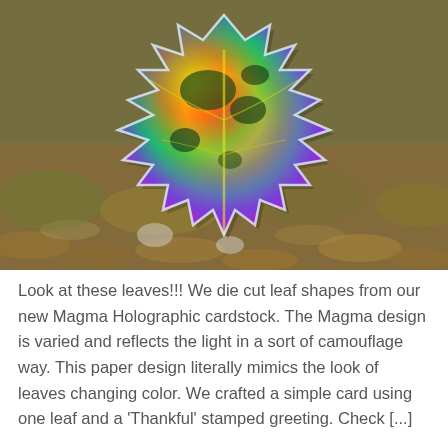[Figure (photo): A holographic die-cut leaf shape (resembling an oak or maple leaf with spiky edges) with a rainbow iridescent surface showing orange, red, green, yellow, and purple hues, photographed on a blurred background of autumn leaves and pebbles.]
Look at these leaves!!! We die cut leaf shapes from our new Magma Holographic cardstock. The Magma design is varied and reflects the light in a sort of camouflage way. This paper design literally mimics the look of leaves changing color. We crafted a simple card using one leaf and a 'Thankful' stamped greeting. Check [...]